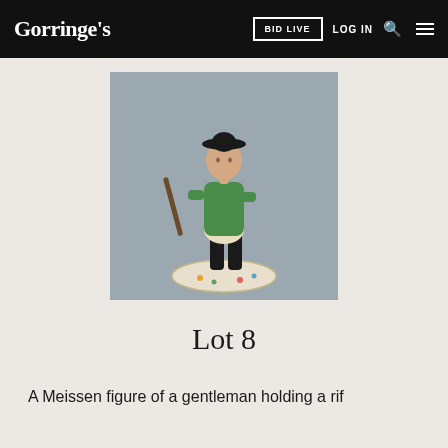Gorringe's | BID LIVE | LOG IN
[Figure (photo): A Meissen porcelain figure of a gentleman in a green coat and black hat, holding a rifle, standing on a decorative base with floral details.]
Lot 8
A Meissen figure of a gentleman holding a rif